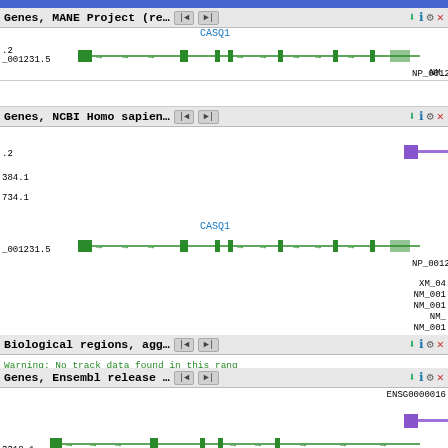[Figure (screenshot): UCSC Genome Browser screenshot showing multiple gene tracks including Genes MANE Project, Genes NCBI Homo sapiens, Biological regions agg, and Genes Ensembl release tracks. CASQ1 gene is shown in green with exons and introns on chromosome. Multiple transcript isoforms visible including NM_ and NP_ accessions.]